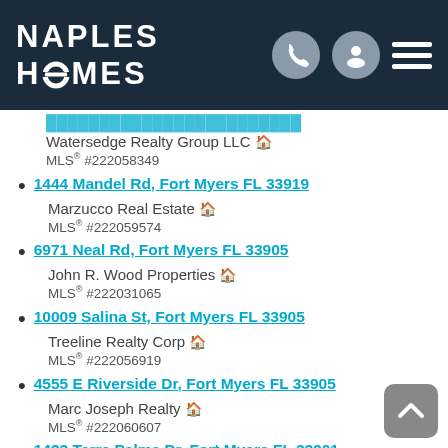Naples Homes
Watersedge Realty Group LLC — MLS® #222058349
1444 Mandel Rd, Fort Myers FL 33919 — Marzucco Real Estate — MLS® #222059574
6971 Neal Rd, Fort Myers FL 33905 — John R. Wood Properties — MLS® #222031065
10009 Salina St, Fort Myers FL 33905 — Treeline Realty Corp — MLS® #222056919
4555 E Riverside Dr, Fort Myers FL 33905 — Marc Joseph Realty — MLS® #222060607
1423 Terra Palma Dr, Fort Myers FL 33901 — Cornerstone Coastal Properties